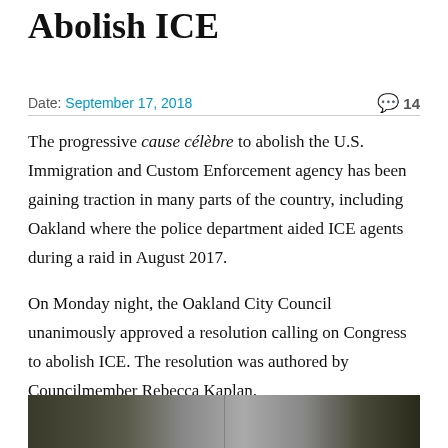Abolish ICE
Date: September 17, 2018   💬 14
The progressive cause célèbre to abolish the U.S. Immigration and Custom Enforcement agency has been gaining traction in many parts of the country, including Oakland where the police department aided ICE agents during a raid in August 2017.
On Monday night, the Oakland City Council unanimously approved a resolution calling on Congress to abolish ICE. The resolution was authored by Councilmember Rebecca Kaplan.
[Figure (photo): Photograph strip at bottom of article, showing an outdoor scene, partially visible]